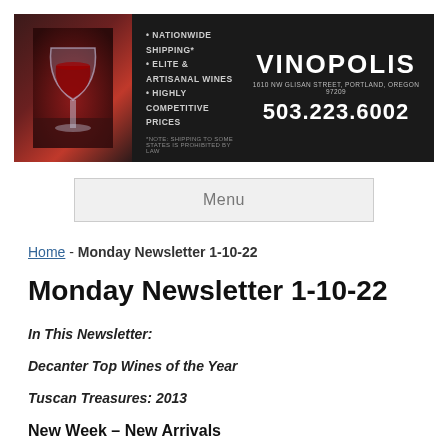[Figure (logo): Vinopolis wine store banner with wine glass graphic, bullet points listing Nationwide Shipping, Elite & Artisanal Wines, Highly Competitive Prices, store name VINOPOLIS, address 1610 NW Glisan Street Portland Oregon 97209, phone 503.223.6002]
Menu
Home - Monday Newsletter 1-10-22
Monday Newsletter 1-10-22
In This Newsletter:
Decanter Top Wines of the Year
Tuscan Treasures: 2013
New Week – New Arrivals